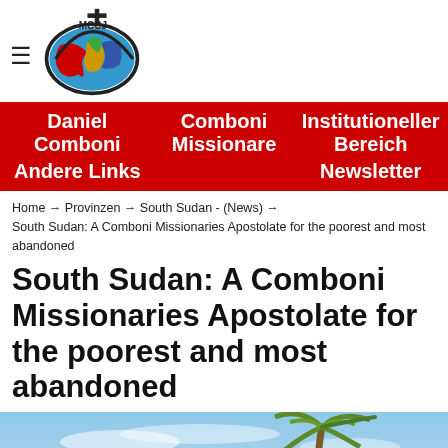[Figure (logo): MCCJ globe logo with cross]
Daniel Comboni | Comboni Missionare | Institutioneller Bereich | Andere Links | Newsletter
Home → Provinzen → South Sudan - (News) → South Sudan: A Comboni Missionaries Apostolate for the poorest and most abandoned
South Sudan: A Comboni Missionaries Apostolate for the poorest and most abandoned
[Figure (photo): Outdoor scene with palm trees against a blue sky]